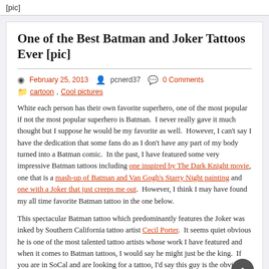[pic]
One of the Best Batman and Joker Tattoos Ever [pic]
February 25, 2013   pcnerd37   0 Comments   cartoon, Cool pictures
White each person has their own favorite superhero, one of the most popular if not the most popular superhero is Batman.  I never really gave it much thought but I suppose he would be my favorite as well.  However, I can't say I have the dedication that some fans do as I don't have any part of my body turned into a Batman comic.  In the past, I have featured some very impressive Batman tattoos including one inspired by The Dark Knight movie, one that is a mash-up of Batman and Van Gogh's Starry Night painting and one with a Joker that just creeps me out.  However, I think I may have found my all time favorite Batman tattoo in the one below.
This spectacular Batman tattoo which predominantly features the Joker was inked by Southern California tattoo artist Cecil Porter.  It seems quiet obvious he is one of the most talented tattoo artists whose work I have featured and when it comes to Batman tattoos, I would say he might just be the king.  If you are in SoCal and are looking for a tattoo, I'd say this guy is the obvious person to go to!